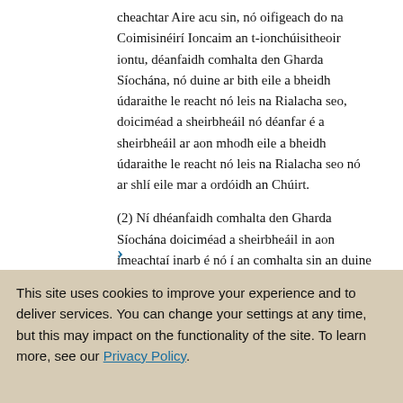cheachtar Aire acu sin, nó oifigeach do na Coimisinéirí Ioncaim an t-ionchúisitheoir iontu, déanfaidh comhalta den Gharda Síochána, nó duine ar bith eile a bheidh údaraithe le reacht nó leis na Rialacha seo, doiciméad a sheirbheáil nó déanfar é a sheirbheáil ar aon mhodh eile a bheidh údaraithe le reacht nó leis na Rialacha seo nó ar shlí eile mar a ordóidh an Chúirt.
(2) Ní dhéanfaidh comhalta den Gharda Síochána doiciméad a sheirbheáil in aon imeachtaí inarb é nó í an comhalta sin an duine a bheidh ag tionscnamh na n-imeachtaí.
3 An modh seirbheála — dlínse achomair: alt 22, Acht na gCúirteanna, 1991
3. I gcás dlínse achomaire lena mbaineann alt 22(1) d'Acht na gCúirteanna, 1991, féadfar toghairm, faoi réir fhorálacha an ailt sin, a sheirbheáil ar an duine ar chuige nó chuici a bheidh sí dírithe—
This site uses cookies to improve your experience and to deliver services. You can change your settings at any time, but this may impact on the functionality of the site. To learn more, see our Privacy Policy.